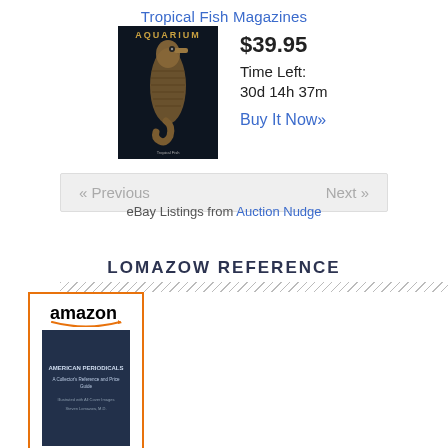Tropical Fish Magazines
[Figure (photo): Magazine cover of Aquarium magazine showing a seahorse on dark background]
$39.95
Time Left:
30d 14h 37m
Buy It Now»
« Previous    Next »
eBay Listings from Auction Nudge
LOMAZOW REFERENCE
[Figure (photo): Amazon listing showing a book cover for American Periodicals reference book]